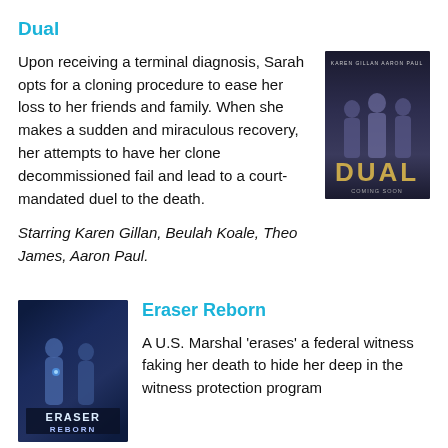Dual
Upon receiving a terminal diagnosis, Sarah opts for a cloning procedure to ease her loss to her friends and family. When she makes a sudden and miraculous recovery, her attempts to have her clone decommissioned fail and lead to a court-mandated duel to the death.
Starring Karen Gillan, Beulah Koale, Theo James, Aaron Paul.
[Figure (photo): Movie poster for Dual featuring three people standing with the title DUAL in large gold letters]
[Figure (photo): Movie poster for Eraser Reborn featuring two people with sci-fi background and the ERASER REBORN title]
Eraser Reborn
A U.S. Marshal 'erases' a federal witness faking her death to hide her deep in the witness protection program